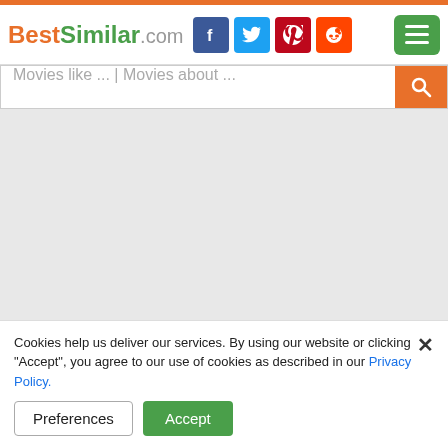BestSimilar.com — header with logo, social icons, and menu button
Movies like ... | Movies about ...
[Figure (screenshot): Large gray empty content area]
Cookies help us deliver our services. By using our website or clicking "Accept", you agree to our use of cookies as described in our Privacy Policy.
Preferences
Accept